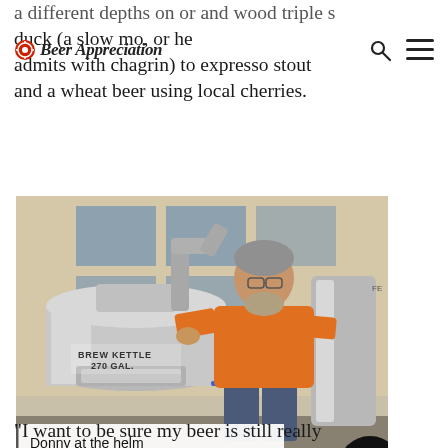Beer Appreciation
a different depths on or and wood triple s (duck (a slow mo, or he admits with chagrin) to expresso stout and a wheat beer using local cherries.
[Figure (photo): Man in orange t-shirt standing next to a large stainless steel brew kettle (270 GAL.) in a brewery setting with building visible in background]
Donny at the helm
“I want to be sure my beer is still really